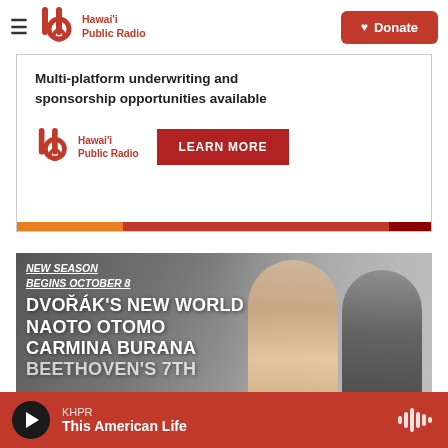[Figure (logo): Hawaii Public Radio logo and navigation bar with Donate button]
Multi-platform underwriting and sponsorship opportunities available
[Figure (logo): Hawaii Public Radio logo with LEARN MORE button]
[Figure (photo): Concert season poster: NEW SEASON BEGINS OCTOBER 8, DVORAK'S NEW WORLD, NAOTO OTOMO, CARMINA BURANA, BEETHOVEN'S 7TH with two musicians]
KHPR This American Life